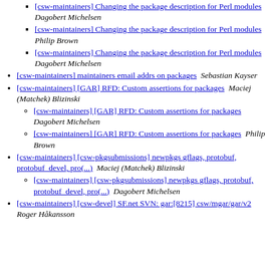[csw-maintainers] Changing the package description for Perl modules  Dagobert Michelsen
[csw-maintainers] Changing the package description for Perl modules  Philip Brown
[csw-maintainers] Changing the package description for Perl modules  Dagobert Michelsen
[csw-maintainers] maintainers email addrs on packages  Sebastian Kayser
[csw-maintainers] [GAR] RFD: Custom assertions for packages  Maciej (Matchek) Blizinski
[csw-maintainers] [GAR] RFD: Custom assertions for packages  Dagobert Michelsen
[csw-maintainers] [GAR] RFD: Custom assertions for packages  Philip Brown
[csw-maintainers] [csw-pkgsubmissions] newpkgs gflags, protobuf, protobuf_devel, pro(...)  Maciej (Matchek) Blizinski
[csw-maintainers] [csw-pkgsubmissions] newpkgs gflags, protobuf, protobuf_devel, pro(...)  Dagobert Michelsen
[csw-maintainers] [csw-devel] SF.net SVN: gar:[8215] csw/mgar/gar/v2  Roger Håkansson